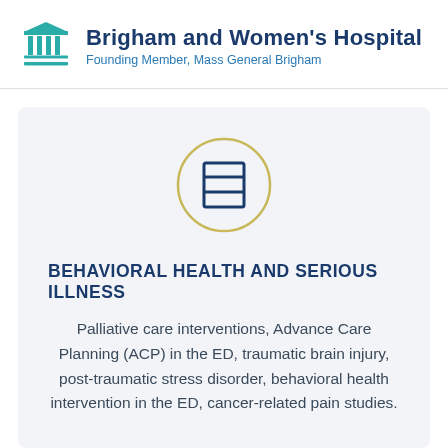Brigham and Women's Hospital
Founding Member, Mass General Brigham
[Figure (logo): Database/table icon inside a golden circle, representing the Behavioral Health and Serious Illness section]
BEHAVIORAL HEALTH AND SERIOUS ILLNESS
Palliative care interventions, Advance Care Planning (ACP) in the ED, traumatic brain injury, post-traumatic stress disorder, behavioral health intervention in the ED, cancer-related pain studies.